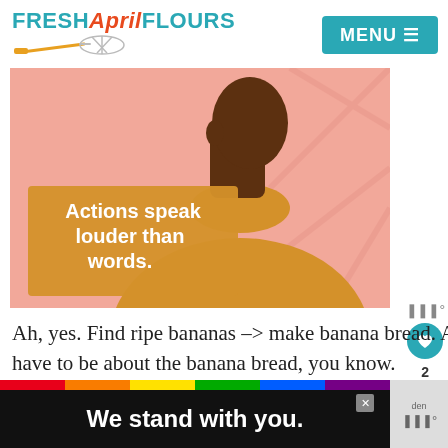FRESH April FLOURS | MENU
[Figure (illustration): Illustration of a person seen from behind wearing a yellow turtleneck sweater against a pink background with text overlay reading 'Actions speak louder than words.']
Ah, yes. Find ripe bananas –> make banana bread. A tale as old as time. But it doesn't just have to be about the banana bread, you know.
[Figure (infographic): What's Next widget: thumbnail image of Almond Flour Banana Bread with label 'WHAT'S NEXT → Almond Flour Banana Bread']
[Figure (infographic): Bottom ad banner with rainbow stripe and text 'We stand with you.' on dark background, with close button and muted right panel]